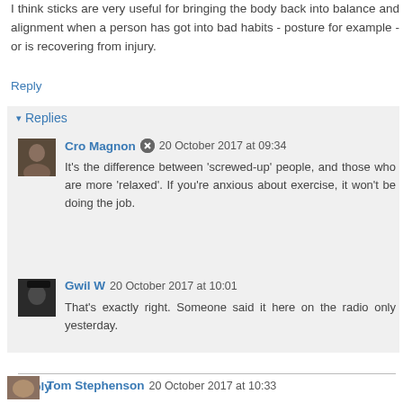I think sticks are very useful for bringing the body back into balance and alignment when a person has got into bad habits - posture for example - or is recovering from injury.
Reply
Replies
Cro Magnon 20 October 2017 at 09:34
It's the difference between 'screwed-up' people, and those who are more 'relaxed'. If you're anxious about exercise, it won't be doing the job.
Gwil W 20 October 2017 at 10:01
That's exactly right. Someone said it here on the radio only yesterday.
Reply
Tom Stephenson 20 October 2017 at 10:33